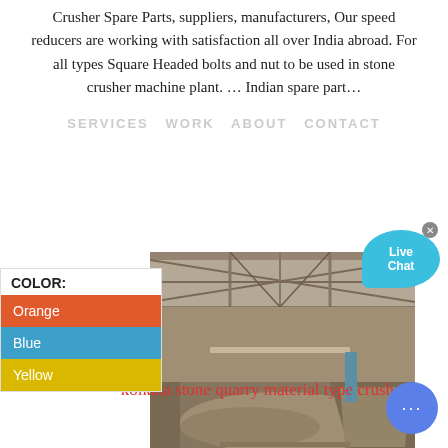Crusher Spare Parts, suppliers, manufacturers, Our speed reducers are working with satisfaction all over India abroad. For all types Square Headed bolts and nut to be used in stone crusher machine plant. … Indian spare part…
[Figure (photo): Interior of a stone quarry crusher plant facility showing industrial steel framework, conveyors, and crushed stone material]
kolkata stone quarry material type crusher
[Figure (other): Live Chat bubble UI element]
[Figure (infographic): Color panel showing options: Orange, Blue, Yellow]
[Figure (other): Chat bubble icon bottom right]